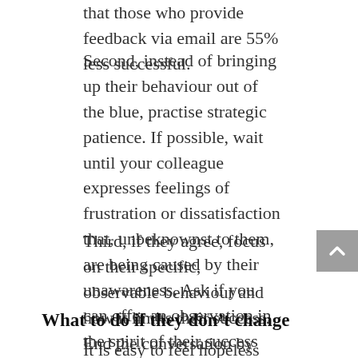that those who provide feedback via email are 55% less successful.
Second, instead of bringing up their behaviour out of the blue, practise strategic patience. If possible, wait until your colleague expresses feelings of frustration or dissatisfaction that, unbeknownst to them, are being caused by their unawareness. Ask if you can offer an observation in the spirit of their success and well-being. Using the word “feedback” risks defensiveness.
Third, if they agree, focus on their specific, observable behaviour and how it limits their success. End the conversation by reaffirming your support and asking how you can help.
What to do if they don’t change
It is easy to feel hopeless when you can’t help